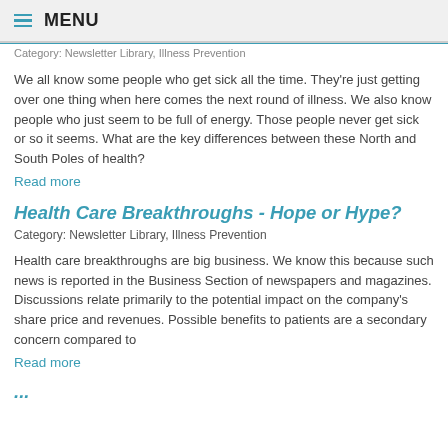MENU
Category: Newsletter Library, Illness Prevention
We all know some people who get sick all the time. They're just getting over one thing when here comes the next round of illness. We also know people who just seem to be full of energy. Those people never get sick or so it seems. What are the key differences between these North and South Poles of health?
Read more
Health Care Breakthroughs - Hope or Hype?
Category: Newsletter Library, Illness Prevention
Health care breakthroughs are big business. We know this because such news is reported in the Business Section of newspapers and magazines. Discussions relate primarily to the potential impact on the company's share price and revenues. Possible benefits to patients are a secondary concern compared to
Read more
...